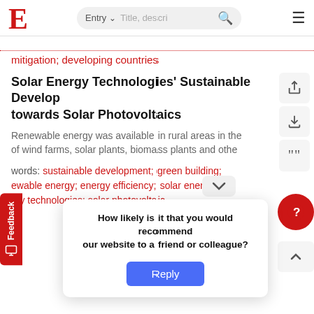E  Entry  Title, descri...  ☰
mitigation; developing countries
Solar Energy Technologies' Sustainable Development towards Solar Photovoltaics
Renewable energy was available in rural areas in the of wind farms, solar plants, biomass plants and othe
words: sustainable development; green building; ewable energy; energy efficiency; solar energy; s rgy technologies; solar photovoltaic
rgy C
Energy c electricity  of  ce to...
How likely is it that you would recommend our website to a friend or colleague? Reply